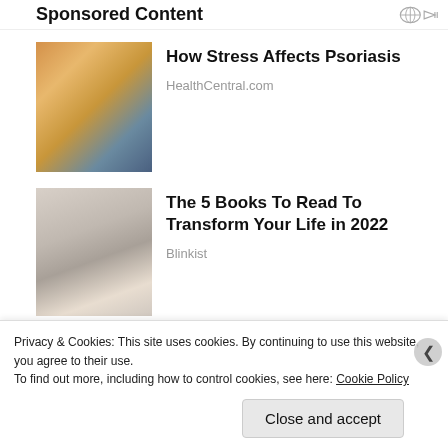Sponsored Content
[Figure (photo): Woman in yellow sweater looking at her arm/wrist, sitting on a couch]
How Stress Affects Psoriasis
HealthCentral.com
[Figure (photo): Young woman with braided hair and red lipstick, portrait style]
The 5 Books To Read To Transform Your Life in 2022
Blinkist
[Figure (photo): Partial image showing colorful gradient background with green and red tones]
Privacy & Cookies: This site uses cookies. By continuing to use this website, you agree to their use.
To find out more, including how to control cookies, see here: Cookie Policy
Close and accept